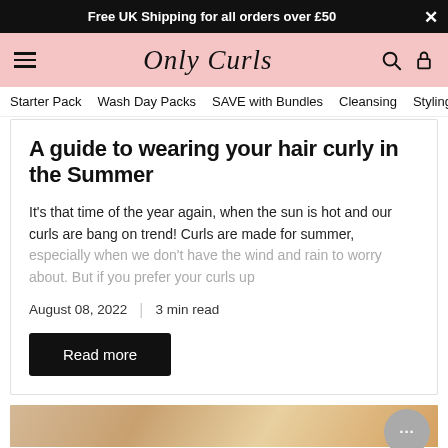Free UK Shipping for all orders over £50
Only Curls
Starter Pack  Wash Day Packs  SAVE with Bundles  Cleansing  Styling  Fra
A guide to wearing your hair curly in the Summer
It's that time of the year again, when the sun is hot and our curls are bang on trend! Curls are made for summer, especially when we don't have the wind and rain to worry about. But if you prefer your curls up
August 08, 2022  |  3 min read
Read more
[Figure (photo): Bottom portion of a blog article page showing a warm-toned image strip at the very bottom]